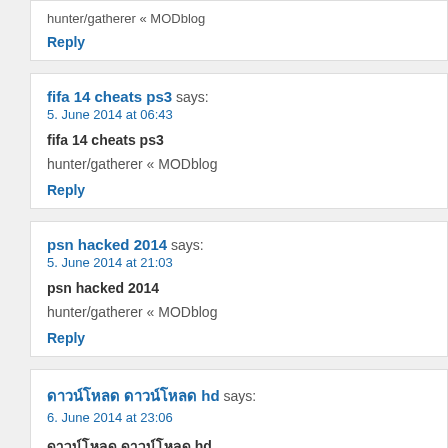hunter/gatherer « MODblog
Reply
fifa 14 cheats ps3 says:
5. June 2014 at 06:43
fifa 14 cheats ps3
hunter/gatherer « MODblog
Reply
psn hacked 2014 says:
5. June 2014 at 21:03
psn hacked 2014
hunter/gatherer « MODblog
Reply
xxxxxxx xxxxxxxx xx says:
6. June 2014 at 23:06
xxxxxxx xxxxxxxx xx
http://www.hotel-melissa.com/contents/skin/images/hotel-lou
xx xx
Reply